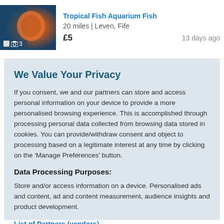[Figure (photo): Thumbnail image of a person in orange gloves, blue/teal background, with photo count badge showing camera icon and 3]
20 miles | Leven, Fife
£5    13 days ago
We Value Your Privacy
If you consent, we and our partners can store and access personal information on your device to provide a more personalised browsing experience. This is accomplished through processing personal data collected from browsing data stored in cookies. You can provide/withdraw consent and object to processing based on a legitimate interest at any time by clicking on the 'Manage Preferences' button.
Data Processing Purposes:
Store and/or access information on a device. Personalised ads and content, ad and content measurement, audience insights and product development.
List of Partners (vendors)
Accept
Manage your privacy settings